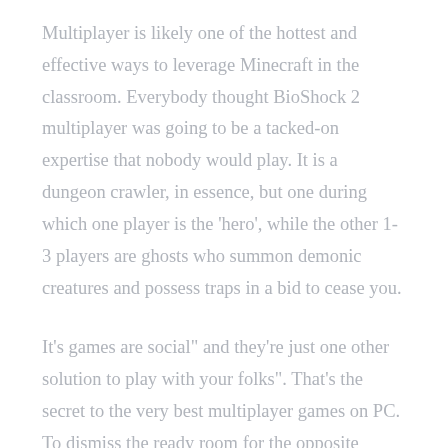Multiplayer is likely one of the hottest and effective ways to leverage Minecraft in the classroom. Everybody thought BioShock 2 multiplayer was going to be a tacked-on expertise that nobody would play. It is a dungeon crawler, in essence, but one during which one player is the 'hero', while the other 1-3 players are ghosts who summon demonic creatures and possess traps in a bid to cease you.
It's games are social" and they’re just one other solution to play with your folks". That’s the secret to the very best multiplayer games on PC. To dismiss the ready room for the opposite gamers, your sport ought to send a reliable real-time message to the opposite gamers to indicate that the game is beginning early.
Video games will be played with participants in the same location working on separate computer systems, or